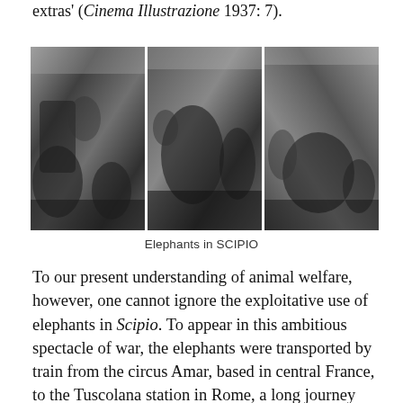extras' (Cinema Illustrazione 1937: 7).
[Figure (photo): Three black-and-white film stills showing elephants in the movie SCIPIO. Left: elephants with riders/soldiers in a desert landscape. Center: a column of soldiers and elephants marching. Right: elephants moving through terrain with soldiers.]
Elephants in SCIPIO
To our present understanding of animal welfare, however, one cannot ignore the exploitative use of elephants in Scipio. To appear in this ambitious spectacle of war, the elephants were transported by train from the circus Amar, based in central France, to the Tuscolana station in Rome, a long journey which made them ‘nervous’ at arrival (Cinema Illustrazione, 1937). With the exception of a poorly elephant, who had given birth to her little one on the train journey from France to Rome, all the other elephants were